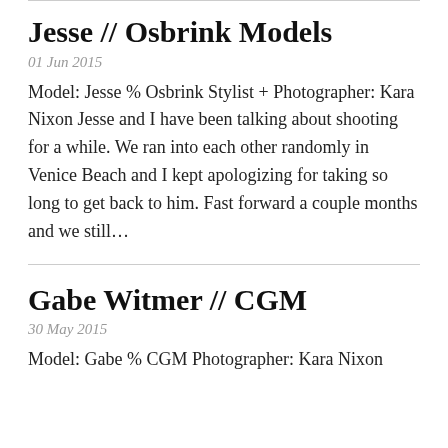Jesse // Osbrink Models
01 Jun 2015
Model: Jesse % Osbrink Stylist + Photographer: Kara Nixon Jesse and I have been talking about shooting for a while. We ran into each other randomly in Venice Beach and I kept apologizing for taking so long to get back to him. Fast forward a couple months and we still…
Gabe Witmer // CGM
30 May 2015
Model: Gabe % CGM Photographer: Kara Nixon